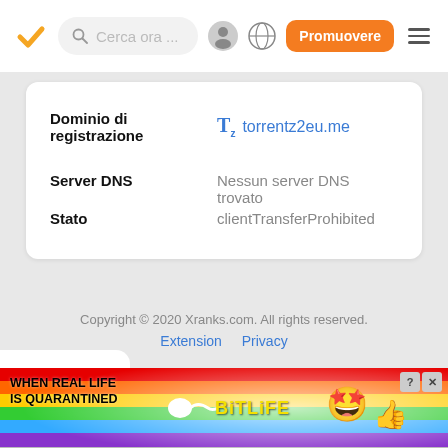[Figure (screenshot): Navigation bar with orange checkmark logo, search bar 'Cerca ora ...', user icon, globe icon, orange 'Promuovere' button, and hamburger menu]
| Dominio di registrazione | torrentz2eu.me |
| Server DNS | Nessun server DNS trovato |
| Stato | clientTransferProhibited |
Copyright © 2020 Xranks.com. All rights reserved.
Extension   Privacy
[Figure (screenshot): Ad banner: WHEN REAL LIFE IS QUARANTINED with BitLife logo and emoji characters on rainbow background]